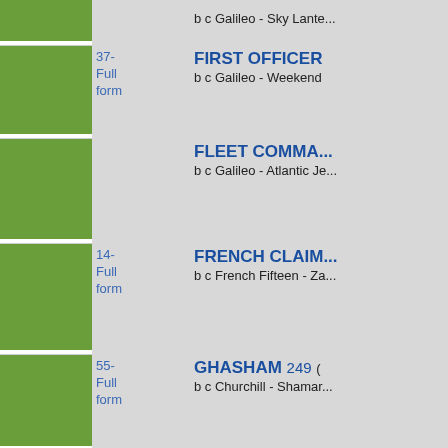b c Galileo - Sky Lante...
37- Full form | FIRST OFFICER | b c Galileo - Weekend
FLEET COMMA... | b c Galileo - Atlantic Je...
14- Full form | FRENCH CLAIM... | b c French Fifteen - Za...
55- Full form | GHASHAM 249 | b c Churchill - Shamar...
1610- Full form | GLOUNTHAUN... | b c Kodiac - Khaimah (
352500- Full form | GREAT MAX 232... | b c Wootton Bassett - T...
GULLIVER'S TR... | b c Galileo - Prudenzia...
314- Full form | HANNIBAL BAR... | b c Zoffany - Innocent A...
31- Full form | HERRING ISLA...